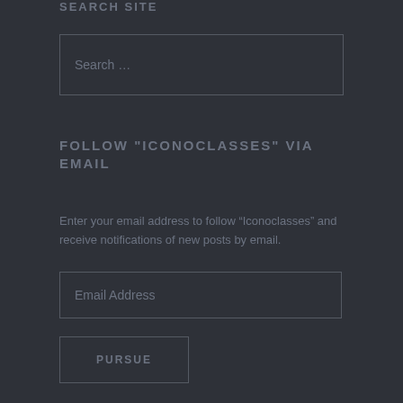SEARCH SITE
[Figure (screenshot): Search input box with placeholder text 'Search ...']
FOLLOW "ICONOCLASSES" VIA EMAIL
Enter your email address to follow “Iconoclasses” and receive notifications of new posts by email.
[Figure (screenshot): Email address input box with placeholder text 'Email Address']
[Figure (screenshot): Button labeled 'PURSUE']